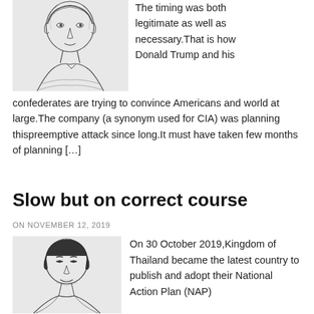[Figure (illustration): Pencil sketch portrait of a man, head and shoulders, in black and white]
The timing was both legitimate as well as necessary.That is how Donald Trump and his confederates are trying to convince Americans and world at large.The company (a synonym used for CIA) was planning thispreemptive attack since long.It must have taken few months of planning […]
Slow but on correct course
ON NOVEMBER 12, 2019
[Figure (illustration): Pencil sketch portrait of a man, head and shoulders, in black and white]
On 30 October 2019,Kingdom of Thailand became the latest country to publish and adopt their National Action Plan (NAP)